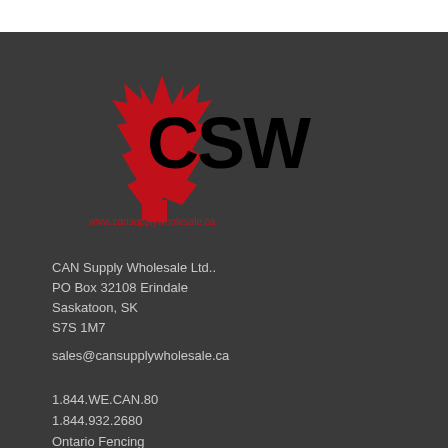[Figure (logo): CSW Can Supply Wholesale logo: red maple leaf on left overlapping bold black 'CSW' letters, with website www.cansupplywholesale.ca below]
CAN Supply Wholesale Ltd..
PO Box 32108 Erindale
Saskatoon, SK
S7S 1M7
sales@cansupplywholesale.ca
1.844.WE.CAN.80
1.844.932.2680
Ontario Fencing
Saskatoon Fencing
Alberta Fencing